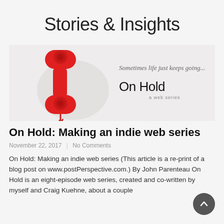Stories & Insights
[Figure (photo): Promotional image for 'On Hold' web series featuring a red vintage telephone handset on a light background with text 'Sometimes life just keeps going...' and 'On Hold a web series']
On Hold: Making an indie web series
November 22, 2017  |  No Comments
On Hold: Making an indie web series (This article is a re-print of a blog post on www.postPerspective.com.) By John Parenteau On Hold is an eight-episode web series, created and co-written by myself and Craig Kuehne, about a couple